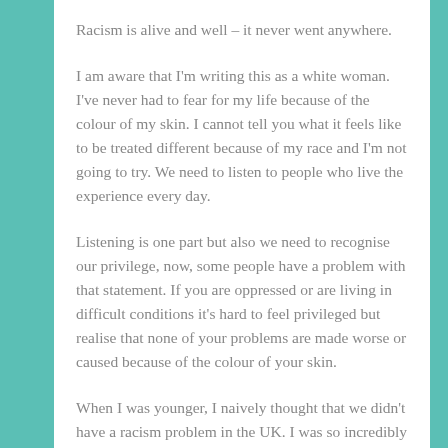Racism is alive and well – it never went anywhere.
I am aware that I'm writing this as a white woman. I've never had to fear for my life because of the colour of my skin. I cannot tell you what it feels like to be treated different because of my race and I'm not going to try. We need to listen to people who live the experience every day.
Listening is one part but also we need to recognise our privilege, now, some people have a problem with that statement. If you are oppressed or are living in difficult conditions it's hard to feel privileged but realise that none of your problems are made worse or caused because of the colour of your skin.
When I was younger, I naively thought that we didn't have a racism problem in the UK. I was so incredibly wrong that it brings me shame now to admit it. Racism is alive and well